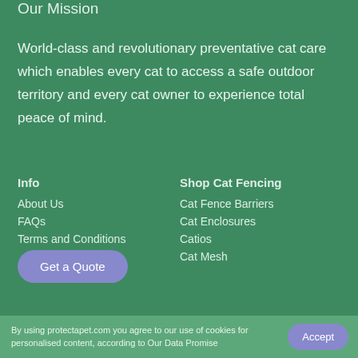Our Mission
World-class and revolutionary preventative cat care which enables every cat to access a safe outdoor territory and every cat owner to experience total peace of mind.
Info
Shop Cat Fencing
About Us
Cat Fence Barriers
FAQs
Cat Enclosures
Terms and Conditions
Catios
Cat Mesh
By using protectapet.com you agree to our use of cookies for personalised content, according to Our Data Promise